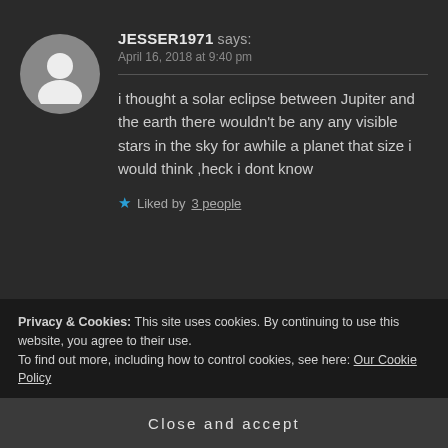[Figure (illustration): Circular gray avatar placeholder icon with a white silhouette of a person (head and shoulders)]
JESSER1971 says:
April 16, 2018 at 9:40 pm
i thought a solar eclipse between Jupiter and the earth there wouldn't be any any visible stars in the sky for awhile a planet that size i would think ,heck i dont know
Liked by 3 people
Privacy & Cookies: This site uses cookies. By continuing to use this website, you agree to their use.
To find out more, including how to control cookies, see here: Our Cookie Policy
Close and accept